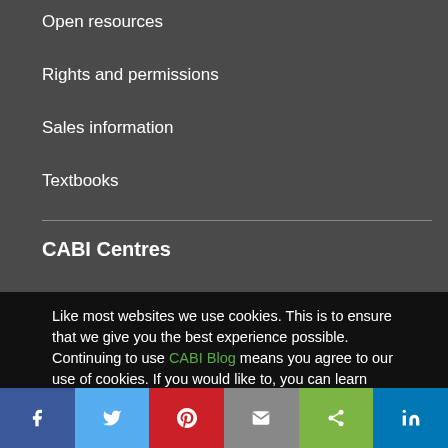Open resources
Members
Rights and permissions
Sales information
Textbooks
CABI Centres
Brazil
China
Ghana
India
Like most websites we use cookies. This is to ensure that we give you the best experience possible. Continuing to use CABI Blog means you agree to our use of cookies. If you would like to, you can learn more about the cookies we use here.